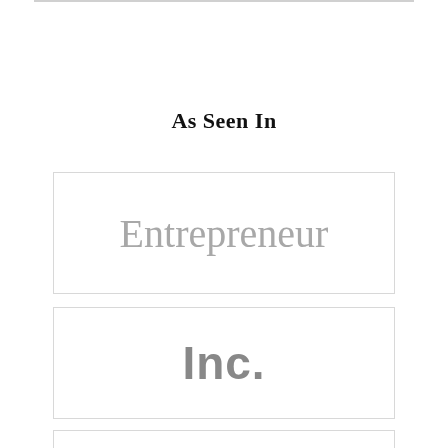As Seen In
[Figure (logo): Entrepreneur magazine logo in gray serif font inside a bordered rectangle]
[Figure (logo): Inc. magazine logo in gray bold sans-serif font inside a bordered rectangle]
[Figure (logo): Forbes magazine logo in gray italic serif font inside a bordered rectangle (partially visible)]